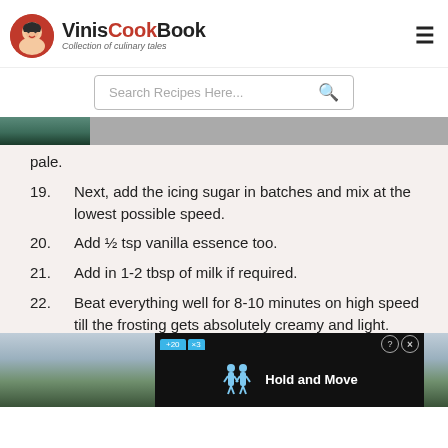VinisCookBook — Collection of culinary tales
Search Recipes Here...
[Figure (photo): Partial image visible at top of content area]
pale.
19. Next, add the icing sugar in batches and mix at the lowest possible speed.
20. Add ½ tsp vanilla essence too.
21. Add in 1-2 tbsp of milk if required.
22. Beat everything well for 8-10 minutes on high speed till the frosting gets absolutely creamy and light.
23. [partially obscured] ...ting.
24. Decorate it with sprinkles as you may like.
[Figure (screenshot): Ad overlay: Hold and Move advertisement with dark background over tree photo]